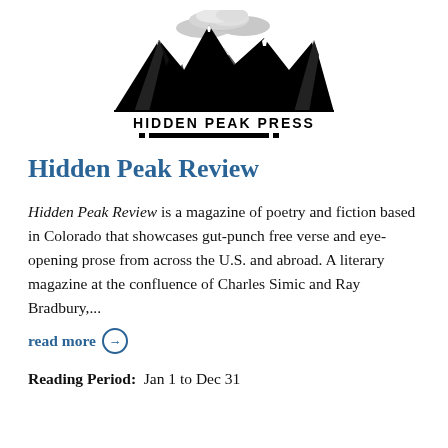[Figure (logo): Hidden Peak Press logo: black and white illustration of mountain peaks with clouds above, text 'HIDDEN PEAK PRESS' below in bold caps, with decorative bar elements beneath]
Hidden Peak Review
Hidden Peak Review is a magazine of poetry and fiction based in Colorado that showcases gut-punch free verse and eye-opening prose from across the U.S. and abroad. A literary magazine at the confluence of Charles Simic and Ray Bradbury,... read more →
Reading Period:  Jan 1 to Dec 31